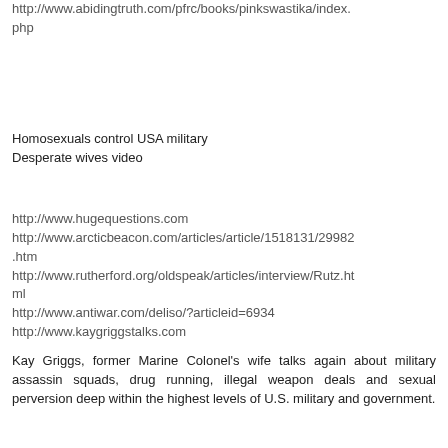http://www.abidingtruth.com/pfrc/books/pinkswastika/index.php
Homosexuals control USA military
Desperate wives video
http://www.hugequestions.com
http://www.arcticbeacon.com/articles/article/1518131/29982.htm
http://www.rutherford.org/oldspeak/articles/interview/Rutz.html
http://www.antiwar.com/deliso/?articleid=6934
http://www.kaygriggstalks.com
Kay Griggs, former Marine Colonel's wife talks again about military assassin squads, drug running, illegal weapon deals and sexual perversion deep within the highest levels of U.S. military and government.